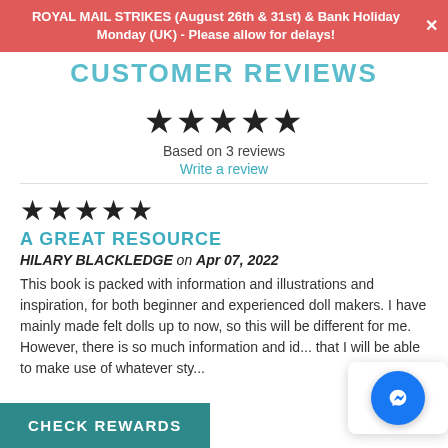ROYAL MAIL STRIKES (August 26th & 31st) & Bank Holiday Monday (UK) - Please allow for delays!
CUSTOMER REVIEWS
[Figure (other): Five filled black stars rating]
Based on 3 reviews
Write a review
[Figure (other): Five filled black stars rating for individual review]
A GREAT RESOURCE
HILARY BLACKLEDGE on Apr 07, 2022
This book is packed with information and illustrations and inspiration, for both beginner and experienced doll makers. I have mainly made felt dolls up to now, so this will be different for me. However, there is so much information and id... that I will be able to make use of whatever sty...